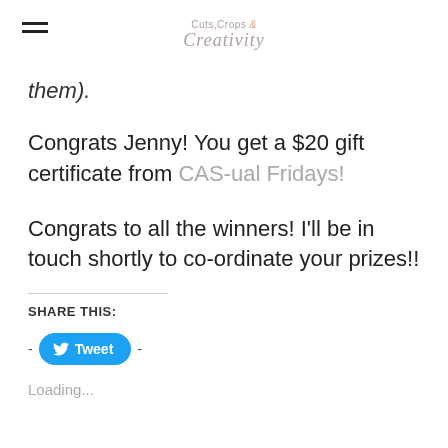Cuts, Crops & Creativity
them).
Congrats Jenny! You get a $20 gift certificate from CAS-ual Fridays!
Congrats to all the winners! I'll be in touch shortly to co-ordinate your prizes!!
SHARE THIS:
[Figure (screenshot): Tweet button with Twitter bird icon, with dashes on either side]
Loading...